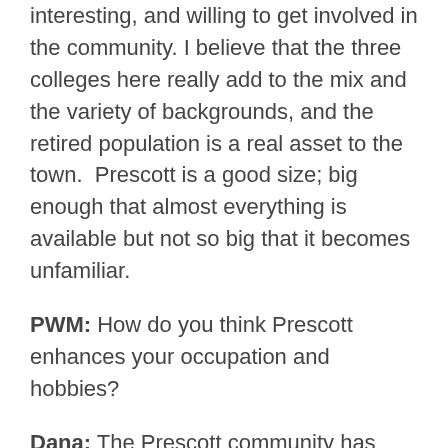interesting, and willing to get involved in the community. I believe that the three colleges here really add to the mix and the variety of backgrounds, and the retired population is a real asset to the town.  Prescott is a good size; big enough that almost everything is available but not so big that it becomes unfamiliar.
PWM: How do you think Prescott enhances your occupation and hobbies?
Dana: The Prescott community has been very supportive of the distillery and the events we have here. They support the live music, theatre, and other special events we support. We also are available for private parties and events, and we usually do two or three a month.